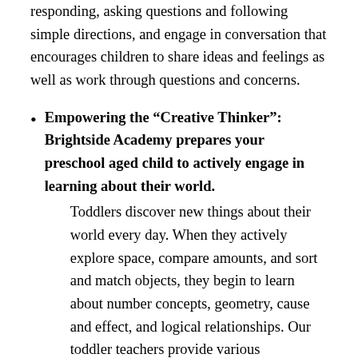responding, asking questions and following simple directions, and engage in conversation that encourages children to share ideas and feelings as well as work through questions and concerns.
Empowering the “Creative Thinker”: Brightside Academy prepares your preschool aged child to actively engage in learning about their world. Toddlers discover new things about their world every day. When they actively explore space, compare amounts, and sort and match objects, they begin to learn about number concepts, geometry, cause and effect, and logical relationships. Our toddler teachers provide various opportunities for exploration and